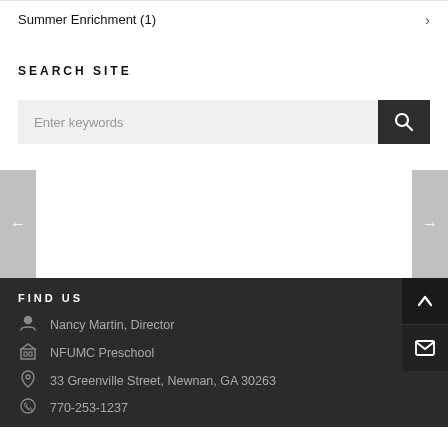Summer Enrichment (1)
SEARCH SITE
Enter keywords
FIND US
Nancy Martin, Director
NFUMC Preschool
33 Greenville Street, Newnan, GA 30263
770-253-1237